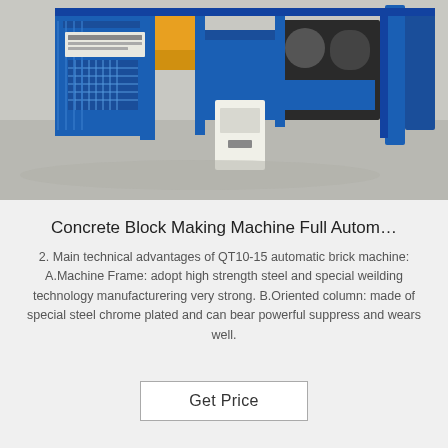[Figure (photo): Aerial/top-down photo of a large blue industrial concrete block making machine (QT10-15 automatic brick machine) on a concrete floor, with yellow and grey components, including a white control panel cabinet.]
Concrete Block Making Machine Full Autom…
2. Main technical advantages of QT10-15 automatic brick machine: A.Machine Frame: adopt high strength steel and special weilding technology manufacturering very strong. B.Oriented column: made of special steel chrome plated and can bear powerful suppress and wears well.
Get Price